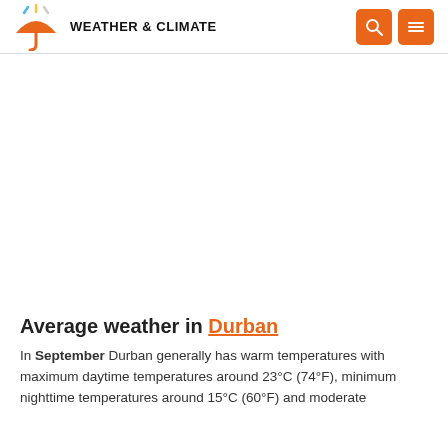WEATHER & CLIMATE
Average weather in Durban
In September Durban generally has warm temperatures with maximum daytime temperatures around 23°C (74°F), minimum nighttime temperatures around 15°C (60°F) and moderate